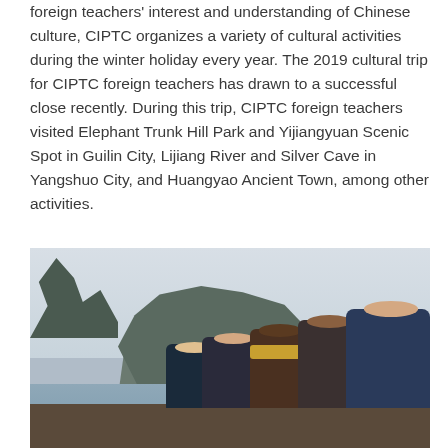foreign teachers' interest and understanding of Chinese culture, CIPTC organizes a variety of cultural activities during the winter holiday every year. The 2019 cultural trip for CIPTC foreign teachers has drawn to a successful close recently. During this trip, CIPTC foreign teachers visited Elephant Trunk Hill Park and Yijiangyuan Scenic Spot in Guilin City, Lijiang River and Silver Cave in Yangshuo City, and Huangyao Ancient Town, among other activities.
[Figure (photo): Group of foreign teachers and Chinese staff standing on a dock viewing Elephant Trunk Hill (karst limestone formation with arch) on the Lijiang River in Guilin, China. Misty overcast sky, grey-green rocky hills in the background, calm river water visible.]